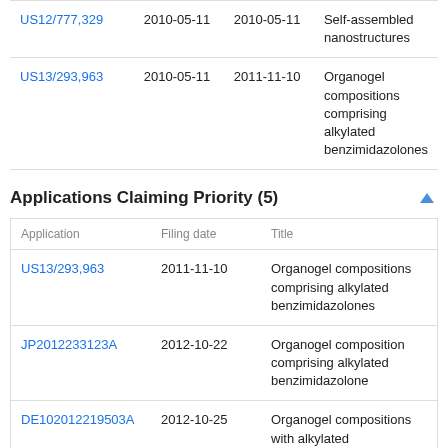| Application | Filing date | Priority date | Title |
| --- | --- | --- | --- |
| US12/777,329 | 2010-05-11 | 2010-05-11 | Self-assembled nanostructures |
| US13/293,963 | 2010-05-11 | 2011-11-10 | Organogel compositions comprising alkylated benzimidazolones |
Applications Claiming Priority (5)
| Application | Filing date | Title |
| --- | --- | --- |
| US13/293,963 | 2011-11-10 | Organogel compositions comprising alkylated benzimidazolones |
| JP2012233123A | 2012-10-22 | Organogel composition comprising alkylated benzimidazolone |
| DE102012219503A | 2012-10-25 | Organogel compositions with alkylated benzimidazolone |